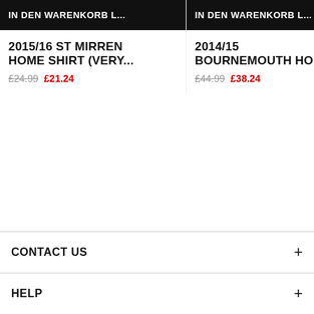IN DEN WARENKORB L...
IN DEN WARENKORB L...
2015/16 ST MIRREN HOME SHIRT (VERY...
£24.99  £21.24
2014/15 BOURNEMOUTH HOM...
£44.99  £38.24
CONTACT US
HELP
LEAGUES
EXPLORE